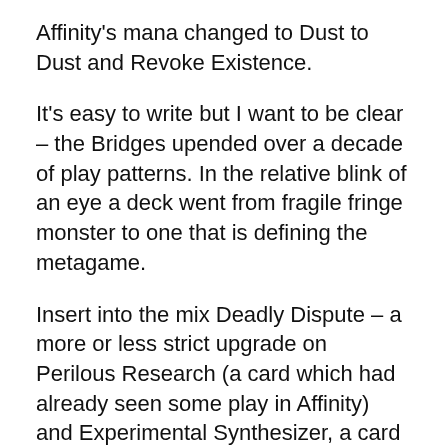Affinity's mana changed to Dust to Dust and Revoke Existence.
It's easy to write but I want to be clear – the Bridges upended over a decade of play patterns. In the relative blink of an eye a deck went from fragile fringe monster to one that is defining the metagame.
Insert into the mix Deadly Dispute – a more or less strict upgrade on Perilous Research (a card which had already seen some play in Affinity) and Experimental Synthesizer, a card that ticks so many Pauper boxes in that it provides both material and card flow. And so Affinity has come out of the shadows and has established itself as one of defining elements of Pauper.
The result is a lot of clamor, and rightfully so. In the span of two years the relatively stable Pauper